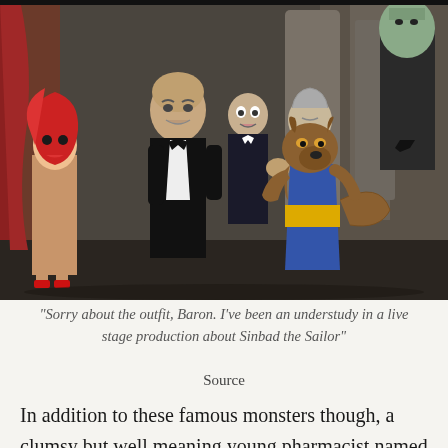[Figure (photo): A color photograph showing puppet/marionette characters including a red-haired female doll, a bald man in a tuxedo, a vampire-like figure, an old woman, a wolfman-type creature in a blue and yellow outfit, and a Frankenstein-like figure in the background. The scene appears to be from a classic TV puppet show set inside a gothic-style building.]
“Sorry about the outfit, Baron. I’ve been an understudy in a live stage production about Sinbad the Sailor”
Source
In addition to these famous monsters though, a clumsy but well meaning young pharmacist named